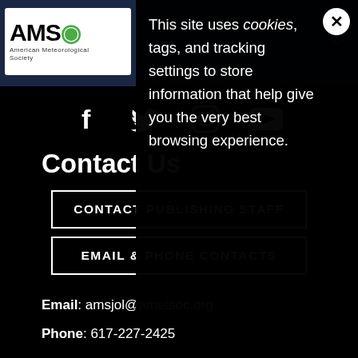[Figure (screenshot): AMS (American Meteorological Society) logo in white box, top left header area]
[Figure (screenshot): Orange search/magnifying glass icon, top right corner]
This site uses cookies, tags, and tracking settings to store information that help give you the very best browsing experience.
[Figure (infographic): Social media icons: Facebook (f), Twitter (bird), Instagram (camera), YouTube (play button)]
Contact Us
CONTACT PUBLISHING STAFF
EMAIL & PHONE CONTACTS
Email: amsjol@ametsoc.org
Phone: 617-227-2425